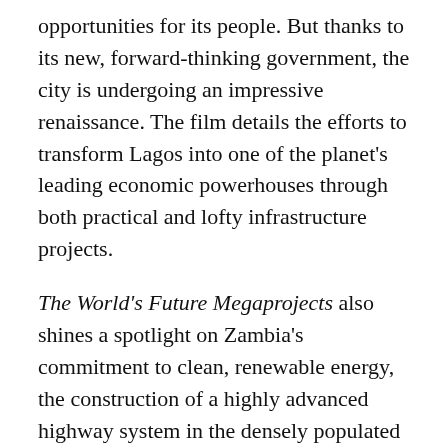opportunities for its people. But thanks to its new, forward-thinking government, the city is undergoing an impressive renaissance. The film details the efforts to transform Lagos into one of the planet's leading economic powerhouses through both practical and lofty infrastructure projects.
The World's Future Megaprojects also shines a spotlight on Zambia's commitment to clean, renewable energy, the construction of a highly advanced highway system in the densely populated country of India, a project aimed at inventing the necessary resources for interstellar travel, a futuristic sports stadium currently underway in Atlanta, Georgia, and China's "One Belt One Road" initiative, which promises to bring about the next evolution in transportation, energy and global trade.
Each of these projects harbor a hefty price tag, but